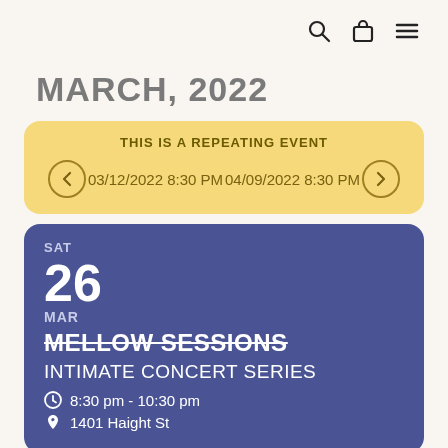[search icon] [bag icon] [menu icon]
MARCH, 2022
THIS IS A REPEATING EVENT
03/12/2022 8:30 PM   04/09/2022 8:30 PM
SAT
26
MAR
MELLOW SESSIONS
INTIMATE CONCERT SERIES
8:30 pm - 10:30 pm
1401 Haight St